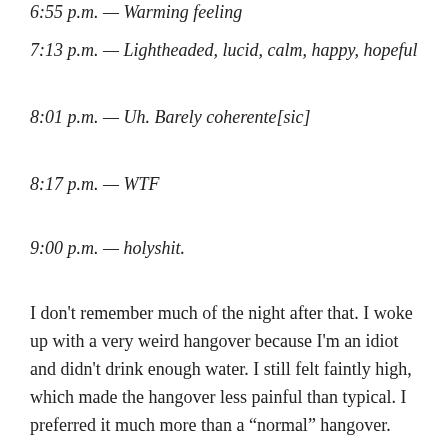6:55 p.m. — Warming feeling
7:13 p.m. — Lightheaded, lucid, calm, happy, hopeful
8:01 p.m. — Uh. Barely coherente[sic]
8:17 p.m. — WTF
9:00 p.m. — holyshit.
I don't remember much of the night after that. I woke up with a very weird hangover because I'm an idiot and didn't drink enough water. I still felt faintly high, which made the hangover less painful than typical. I preferred it much more than a "normal" hangover.